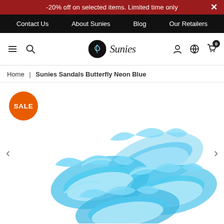-20% off on selected items. Limited time only ×
Contact Us   About Sunies   Blog   Our Retailers
Sunies (logo, navigation icons, cart 0)
Home | Sunies Sandals Butterfly Neon Blue
[Figure (photo): Neon blue butterfly-themed jelly sandals (Sunies brand) displayed on a white background. A SALE badge is shown in the top-left corner.]